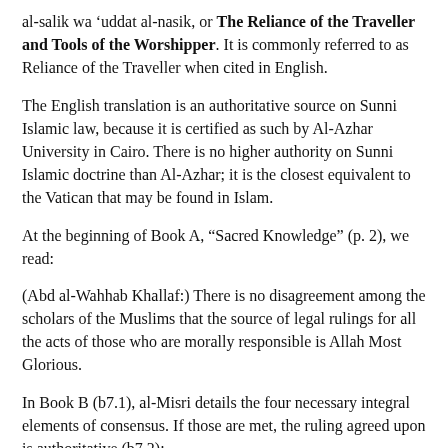al-salik wa 'uddat al-nasik, or The Reliance of the Traveller and Tools of the Worshipper. It is commonly referred to as Reliance of the Traveller when cited in English.
The English translation is an authoritative source on Sunni Islamic law, because it is certified as such by Al-Azhar University in Cairo. There is no higher authority on Sunni Islamic doctrine than Al-Azhar; it is the closest equivalent to the Vatican that may be found in Islam.
At the beginning of Book A, “Sacred Knowledge” (p. 2), we read:
(Abd al-Wahhab Khallaf:) There is no disagreement among the scholars of the Muslims that the source of legal rulings for all the acts of those who are morally responsible is Allah Most Glorious.
In Book B (b7.1), al-Misri details the four necessary integral elements of consensus. If those are met, the ruling agreed upon is authoritative (b7.2):
When the four necessary integrals of consensus exist, the ruling agreed upon is an authoritative part of sacred law that is obligatory to obey and not lawful to disobey. Nor can mujtahids of a succeeding era make the thing an object of new ijtihad. because the ruling on it, verified by scholarly consensus, is an absolute legal ruling which does not admit of being overturned or annulled by